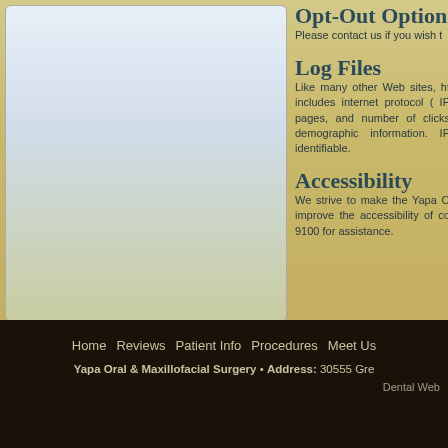Opt-Out Option
Please contact us if you wish t
Log Files
Like many other Web sites, ht includes internet protocol ( IP pages, and number of clicks demographic information. IP identifiable.
Accessibility
We strive to make the Yapa O improve the accessibility of co 9100 for assistance.
Home   Reviews   Patient Info   Procedures   Meet Us
Yapa Oral & Maxillofacial Surgery • Address: 30555 Gre
Dental Web